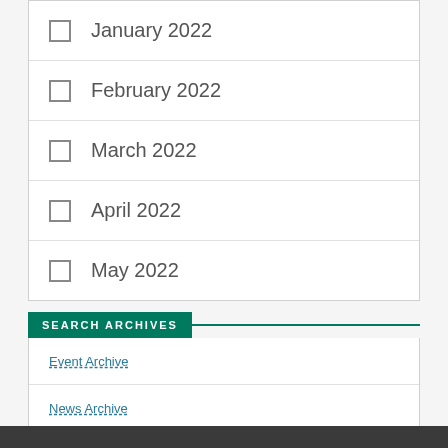January 2022
February 2022
March 2022
April 2022
May 2022
SEARCH ARCHIVES
Event Archive
News Archive